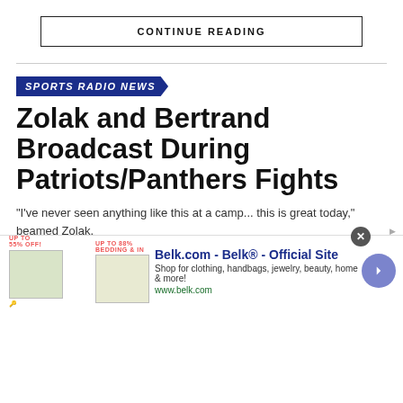CONTINUE READING
SPORTS RADIO NEWS
Zolak and Bertrand Broadcast During Patriots/Panthers Fights
"I've never seen anything like this at a camp... this is great today," beamed Zolak.
Share this:
[Figure (screenshot): Social share buttons: Twitter and Facebook]
[Figure (infographic): Advertisement: Belk.com - Belk® - Official Site. Shop for clothing, handbags, jewelry, beauty, home & more! www.belk.com]